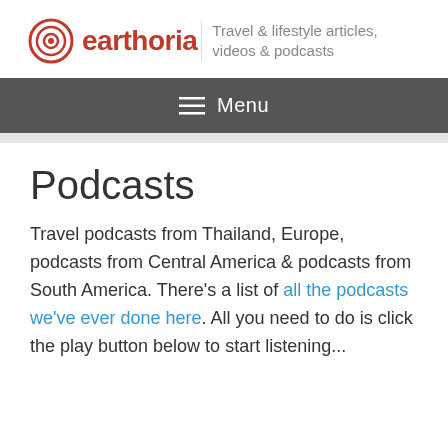earthoria — Travel & lifestyle articles, videos & podcasts
≡ Menu
Podcasts
Travel podcasts from Thailand, Europe, podcasts from Central America & podcasts from South America. There's a list of all the podcasts we've ever done here. All you need to do is click the play button below to start listening...